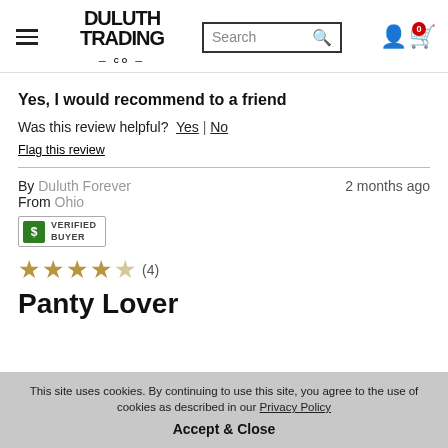Duluth Trading Co. — Search bar and cart
Yes, I would recommend to a friend
Was this review helpful? Yes | No
Flag this review
By Duluth Forever   2 months ago
From Ohio
[Figure (other): Verified Buyer badge with green dollar icon]
[Figure (other): 4 out of 5 stars rating, shown as 4 filled gold stars and 1 empty star, with (4) count]
Panty Lover
This site uses cookies. By continuing to use this site, you agree to the use of cookies as described in our Privacy Policy
Accept & Close